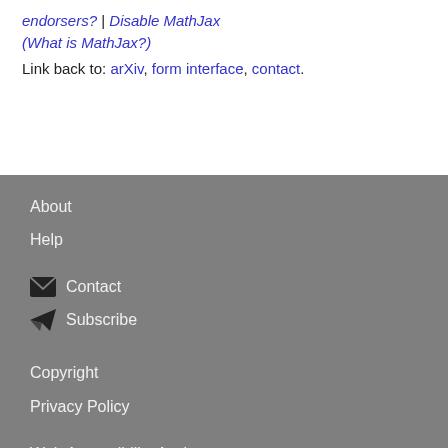endorsers? | Disable MathJax (What is MathJax?)
Link back to: arXiv, form interface, contact.
About
Help
Contact
Subscribe
Copyright
Privacy Policy
Web Accessibility Assistance